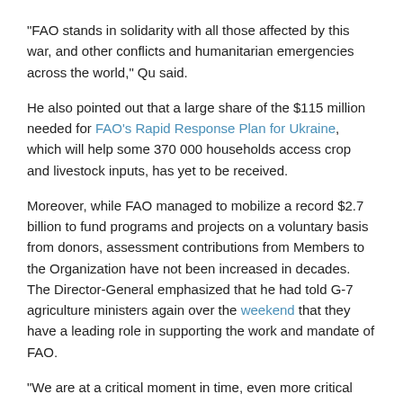“FAO stands in solidarity with all those affected by this war, and other conflicts and humanitarian emergencies across the world,” Qu said.
He also pointed out that a large share of the $115 million needed for FAO’s Rapid Response Plan for Ukraine, which will help some 370 000 households access crop and livestock inputs, has yet to be received.
Moreover, while FAO managed to mobilize a record $2.7 billion to fund programs and projects on a voluntary basis from donors, assessment contributions from Members to the Organization have not been increased in decades. The Director-General emphasized that he had told G-7 agriculture ministers again over the weekend that they have a leading role in supporting the work and mandate of FAO.
“We are at a critical moment in time, even more critical than when we last met,” the Director-General told the Committee delegates.
What FAO is doing
The Director-General gave an ample review of what FAO has done in the past biennium and is doing now.